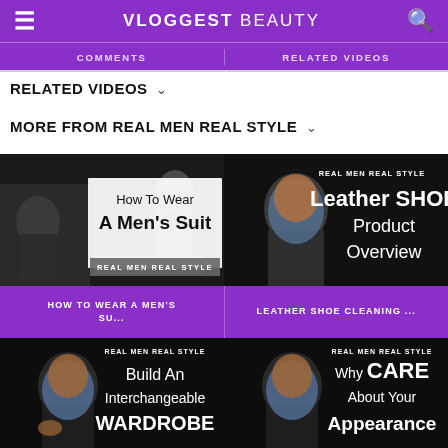VLOGGEST BEAUTY
RELATED VIDEOS
MORE FROM REAL MEN REAL STYLE
[Figure (screenshot): Video thumbnail: How To Wear A Men's Suit - Real Men Real Style]
[Figure (screenshot): Video thumbnail: Leather SHOE Product Overview - Real Men Real Style]
HOW TO WEAR A MEN'S SU...
LEATHER SHOE CLEANING ...
[Figure (screenshot): Video thumbnail: Build An Interchangeable WARDROBE - Real Men Real Style]
[Figure (screenshot): Video thumbnail: Why CARE About Your Appearance - Real Men Real Style]